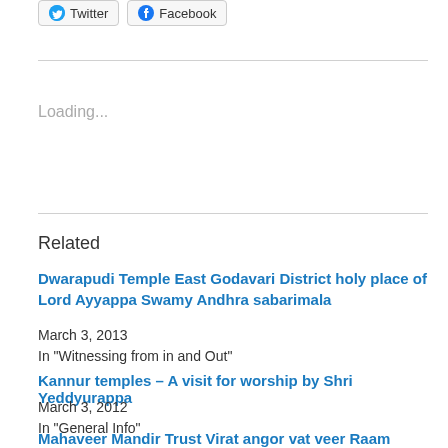[Figure (screenshot): Twitter and Facebook share buttons]
Loading...
Related
Dwarapudi Temple East Godavari District holy place of Lord Ayyappa Swamy Andhra sabarimala
March 3, 2013
In "Witnessing from in and Out"
Kannur temples – A visit for worship by Shri Yeddyurappa
March 3, 2012
In "General Info"
Mahaveer Mandir Trust Virat angor vat veer Raam Mandir